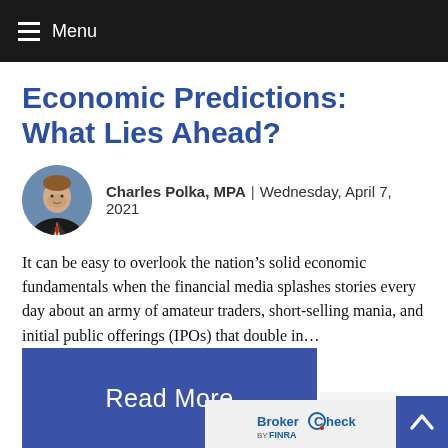Menu
Economic Predictions: What Lies Ahead?
Charles Polka, MPA | Wednesday, April 7, 2021
It can be easy to overlook the nation’s solid economic fundamentals when the financial media splashes stories every day about an army of amateur traders, short-selling mania, and initial public offerings (IPOs) that double in…
[Figure (other): Read More button — dark blue rectangular button with white text reading 'Read More']
[Figure (logo): BrokerCheck by FINRA badge on light grey background]
[Figure (other): Scroll-to-top button — dark blue square with white upward chevron/caret]